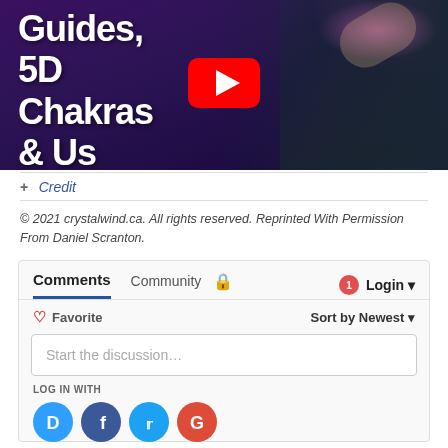[Figure (screenshot): YouTube video thumbnail showing text 'Guides, 5D Chakras & Us' over dark purple/cosmic background with a woman visible, YouTube play button in center]
+ Credit
© 2021 crystalwind.ca. All rights reserved. Reprinted With Permission From Daniel Scranton.
[Figure (screenshot): Disqus comments widget showing Comments/Community tabs, Login button with notification badge, Favorite button, Sort by Newest dropdown, 'Start the discussion...' input, LOG IN WITH social icons for Disqus, Facebook, Twitter, Google]